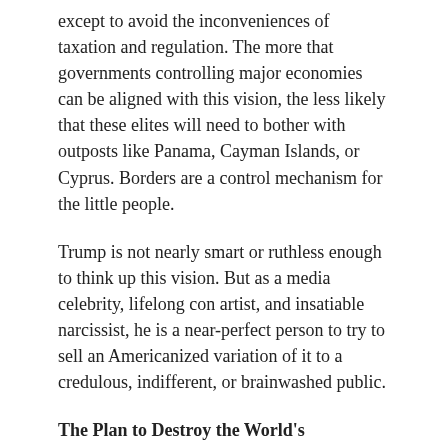except to avoid the inconveniences of taxation and regulation. The more that governments controlling major economies can be aligned with this vision, the less likely that these elites will need to bother with outposts like Panama, Cayman Islands, or Cyprus. Borders are a control mechanism for the little people.
Trump is not nearly smart or ruthless enough to think up this vision. But as a media celebrity, lifelong con artist, and insatiable narcissist, he is a near-perfect person to try to sell an Americanized variation of it to a credulous, indifferent, or brainwashed public.
The Plan to Destroy the World’s Democracies our lives in the balance.
In Russia there is no functional difference between the government, the ruling party, organized crime, and a class of billionaire oligarchs who got their wealth the old-fashioned